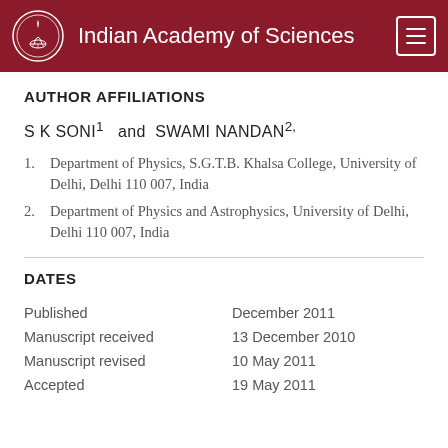Indian Academy of Sciences
AUTHOR AFFILIATIONS
S K SONI¹  and  SWAMI NANDAN²,
1. Department of Physics, S.G.T.B. Khalsa College, University of Delhi, Delhi 110 007, India
2. Department of Physics and Astrophysics, University of Delhi, Delhi 110 007, India
DATES
|  |  |
| --- | --- |
| Published | December 2011 |
| Manuscript received | 13 December 2010 |
| Manuscript revised | 10 May 2011 |
| Accepted | 19 May 2011 |